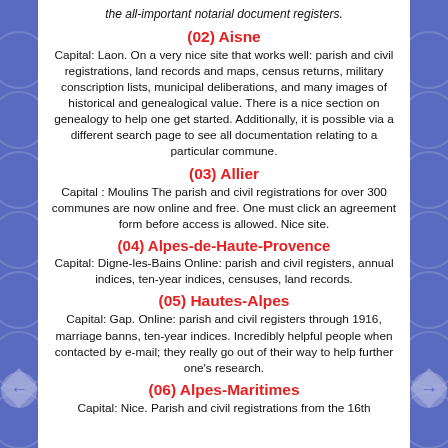the all-important notarial document registers.
(02) Aisne
Capital: Laon. On a very nice site that works well: parish and civil registrations, land records and maps, census returns, military conscription lists, municipal deliberations, and many images of historical and genealogical value. There is a nice section on genealogy to help one get started. Additionally, it is possible via a different search page to see all documentation relating to a particular commune.
(03) Allier
Capital : Moulins The parish and civil registrations for over 300 communes are now online and free. One must click an agreement form before access is allowed. Nice site.
(04) Alpes-de-Haute-Provence
Capital: Digne-les-Bains Online: parish and civil registers, annual indices, ten-year indices, censuses, land records.
(05) Hautes-Alpes
Capital: Gap. Online: parish and civil registers through 1916, marriage banns, ten-year indices. Incredibly helpful people when contacted by e-mail; they really go out of their way to help further one's research.
(06) Alpes-Maritimes
Capital: Nice. Parish and civil registrations from the 16th